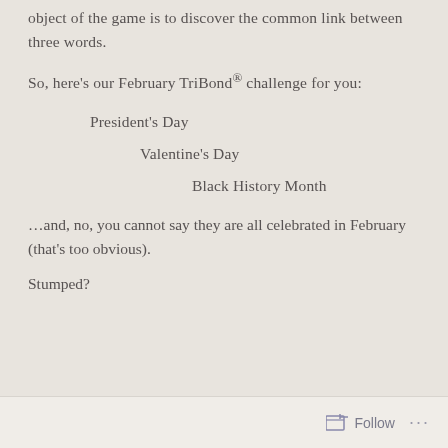object of the game is to discover the common link between three words.
So, here's our February TriBond® challenge for you:
President's Day
Valentine's Day
Black History Month
…and, no, you cannot say they are all celebrated in February (that's too obvious).
Stumped?
Follow